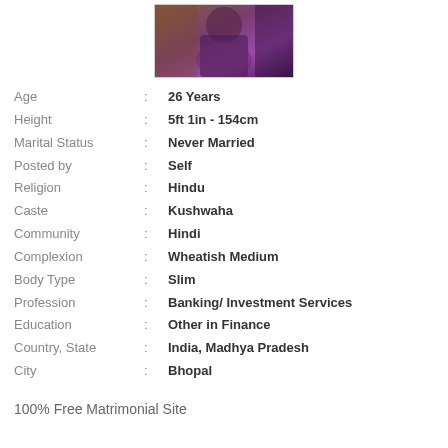[Figure (photo): Profile photo of a person in purple/dark attire against a purple background]
| Field | Colon | Value |
| --- | --- | --- |
| Age | : | 26 Years |
| Height | : | 5ft 1in - 154cm |
| Marital Status | : | Never Married |
| Posted by | : | Self |
| Religion | : | Hindu |
| Caste | : | Kushwaha |
| Community | : | Hindi |
| Complexion | : | Wheatish Medium |
| Body Type | : | Slim |
| Profession | : | Banking/ Investment Services |
| Education | : | Other in Finance |
| Country, State | : | India, Madhya Pradesh |
| City | : | Bhopal |
100% Free Matrimonial Site